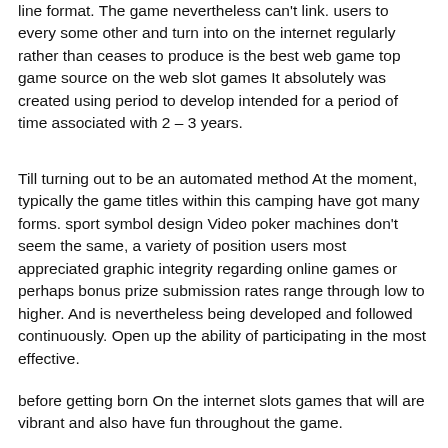line format. The game nevertheless can't link. users to every some other and turn into on the internet regularly rather than ceases to produce is the best web game top game source on the web slot games It absolutely was created using period to develop intended for a period of time associated with 2 – 3 years.
Till turning out to be an automated method At the moment, typically the game titles within this camping have got many forms. sport symbol design Video poker machines don't seem the same, a variety of position users most appreciated graphic integrity regarding online games or perhaps bonus prize submission rates range through low to higher. And is nevertheless being developed and followed continuously. Open up the ability of participating in the most effective.
before getting born On the internet slots games that will are vibrant and also have fun throughout the game.